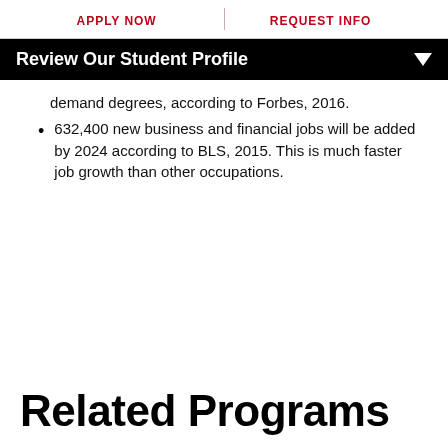APPLY NOW | REQUEST INFO
Review Our Student Profile
demand degrees, according to Forbes, 2016.
632,400 new business and financial jobs will be added by 2024 according to BLS, 2015. This is much faster job growth than other occupations.
Related Programs